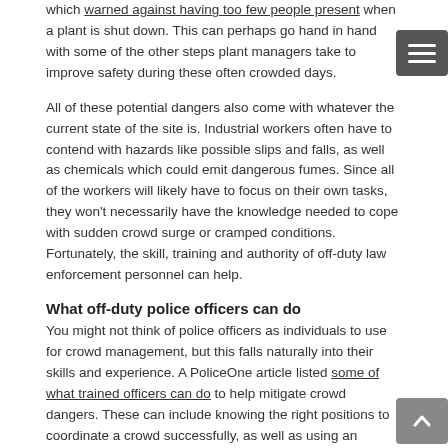which warned against having too few people present when a plant is shut down. This can perhaps go hand in hand with some of the other steps plant managers take to improve safety during these often crowded days.
All of these potential dangers also come with whatever the current state of the site is. Industrial workers often have to contend with hazards like possible slips and falls, as well as chemicals which could emit dangerous fumes. Since all of the workers will likely have to focus on their own tasks, they won't necessarily have the knowledge needed to cope with sudden crowd surge or cramped conditions. Fortunately, the skill, training and authority of off-duty law enforcement personnel can help.
What off-duty police officers can do
You might not think of police officers as individuals to use for crowd management, but this falls naturally into their skills and experience. A PoliceOne article listed some of what trained officers can do to help mitigate crowd dangers. These can include knowing the right positions to coordinate a crowd successfully, as well as using an officer's natural presence to send a strong message and keep trouble from starting. Don't underestimate what an office can bring just by being there.